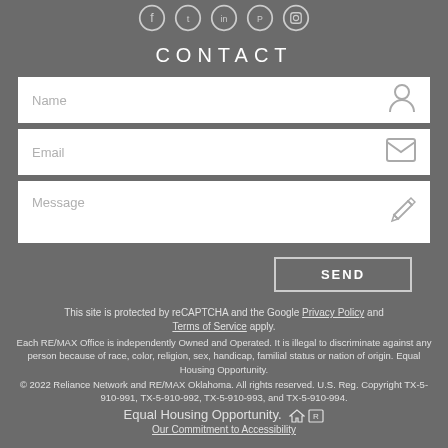[Figure (illustration): Row of five social media icon circles (Facebook, Twitter, LinkedIn, Pinterest, Instagram) in white outline on gray background]
CONTACT
[Figure (illustration): Name input field with person/user icon on right]
[Figure (illustration): Email input field with envelope/mail icon on right]
[Figure (illustration): Message textarea with pencil/edit icon on right]
[Figure (illustration): SEND button with border outline]
This site is protected by reCAPTCHA and the Google Privacy Policy and Terms of Service apply.
Each RE/MAX Office is independently Owned and Operated. It is illegal to discriminate against any person because of race, color, religion, sex, handicap, familial status or nation of origin. Equal Housing Opportunity.
© 2022 Reliance Network and RE/MAX Oklahoma. All rights reserved. U.S. Reg. Copyright TX-5-910-991, TX-5-910-992, TX-5-910-993, and TX-5-910-994.
Equal Housing Opportunity.
Our Commitment to Accessibility